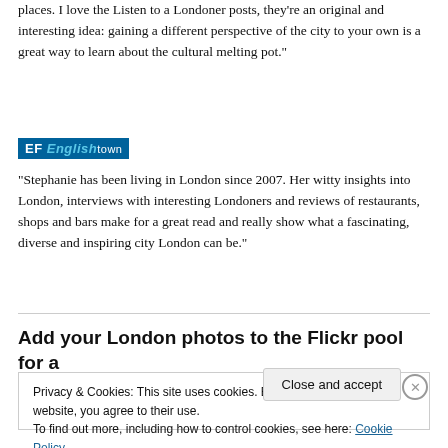places. I love the Listen to a Londoner posts, they're an original and interesting idea: gaining a different perspective of the city to your own is a great way to learn about the cultural melting pot."
[Figure (logo): EF Englishtown logo — blue background with white and cyan italic text]
"Stephanie has been living in London since 2007. Her witty insights into London, interviews with interesting Londoners and reviews of restaurants, shops and bars make for a great read and really show what a fascinating, diverse and inspiring city London can be."
Add your London photos to the Flickr pool for a
Privacy & Cookies: This site uses cookies. By continuing to use this website, you agree to their use.
To find out more, including how to control cookies, see here: Cookie Policy
Close and accept